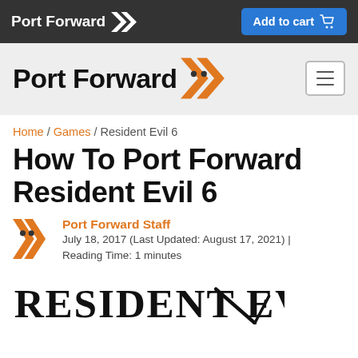Port Forward | Add to cart
[Figure (logo): Port Forward logo with orange chevron icon and hamburger menu button in header bar]
Home / Games / Resident Evil 6
How To Port Forward Resident Evil 6
Port Forward Staff
July 18, 2017 (Last Updated: August 17, 2021) | Reading Time: 1 minutes
[Figure (logo): Resident Evil logo in stylized serif typeface at bottom of page]